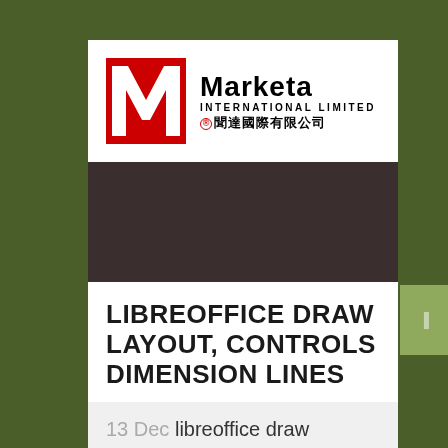[Figure (logo): Marketa International Limited logo with red stylized M icon and Chinese characters 聞達國際有限公司]
LIBREOFFICE DRAW LAYOUT, CONTROLS DIMENSION LINES
13 Dec libreoffice draw layout controls dimension lines